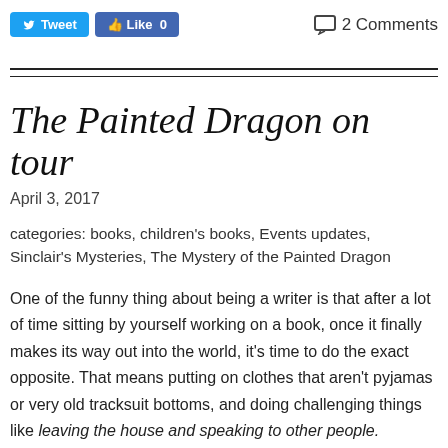Tweet  Like 0  2 Comments
The Painted Dragon on tour
April 3, 2017
categories: books, children's books, Events updates, Sinclair's Mysteries, The Mystery of the Painted Dragon
One of the funny thing about being a writer is that after a lot of time sitting by yourself working on a book, once it finally makes its way out into the world, it's time to do the exact opposite. That means putting on clothes that aren't pyjamas or very old tracksuit bottoms, and doing challenging things like leaving the house and speaking to other people.